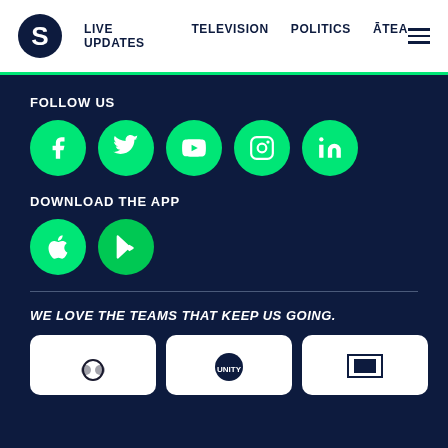S | LIVE UPDATES | TELEVISION | POLITICS | ĀTEA
FOLLOW US
[Figure (infographic): Five green social media icon circles: Facebook, Twitter, YouTube, Instagram, LinkedIn]
DOWNLOAD THE APP
[Figure (infographic): Two green app download icon circles: Apple App Store, Google Play Store]
WE LOVE THE TEAMS THAT KEEP US GOING.
[Figure (infographic): Three partner logo boxes partially visible at bottom]